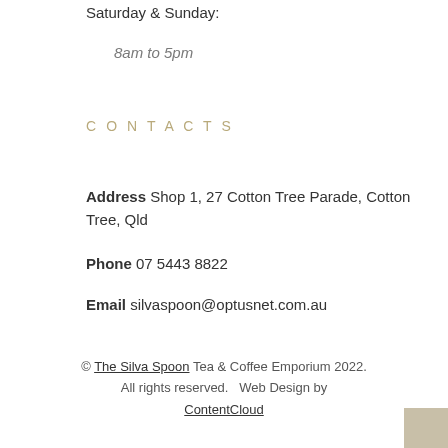Saturday & Sunday:
8am to 5pm
CONTACTS
Address Shop 1, 27 Cotton Tree Parade, Cotton Tree, Qld
Phone 07 5443 8822
Email silvaspoon@optusnet.com.au
© The Silva Spoon Tea & Coffee Emporium 2022. All rights reserved.   Web Design by ContentCloud